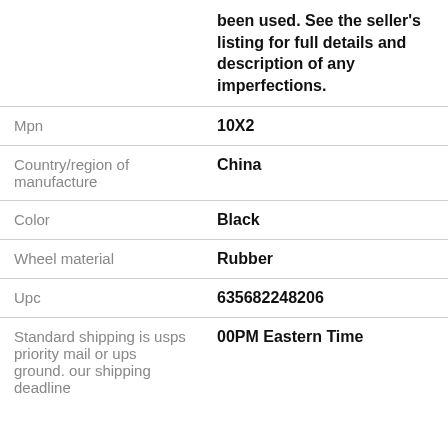| Label | Value |
| --- | --- |
|  | been used. See the seller's listing for full details and description of any imperfections. |
| Mpn | 10X2 |
| Country/region of manufacture | China |
| Color | Black |
| Wheel material | Rubber |
| Upc | 635682248206 |
| Standard shipping is usps priority mail or ups ground. our shipping deadline | 00PM Eastern Time |